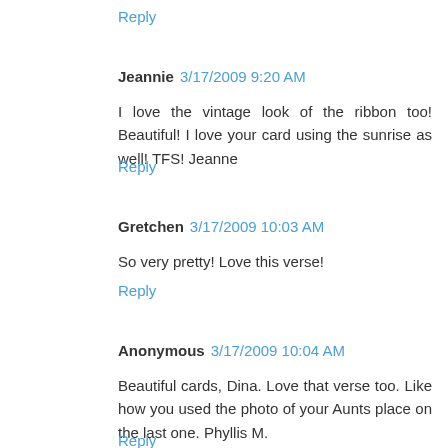Reply
Jeannie  3/17/2009 9:20 AM
I love the vintage look of the ribbon too! Beautiful! I love your card using the sunrise as well! TFS! Jeanne
Reply
Gretchen  3/17/2009 10:03 AM
So very pretty! Love this verse!
Reply
Anonymous  3/17/2009 10:04 AM
Beautiful cards, Dina. Love that verse too. Like how you used the photo of your Aunts place on the last one. Phyllis M.
Reply